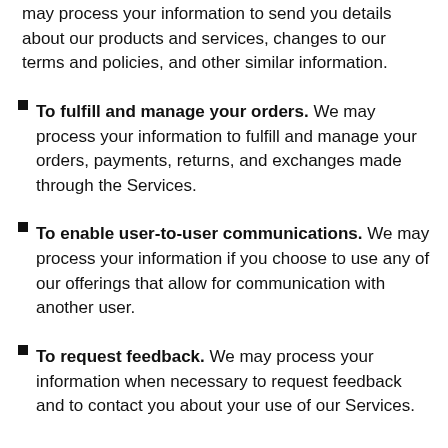may process your information to send you details about our products and services, changes to our terms and policies, and other similar information.
To fulfill and manage your orders. We may process your information to fulfill and manage your orders, payments, returns, and exchanges made through the Services.
To enable user-to-user communications. We may process your information if you choose to use any of our offerings that allow for communication with another user.
To request feedback. We may process your information when necessary to request feedback and to contact you about your use of our Services.